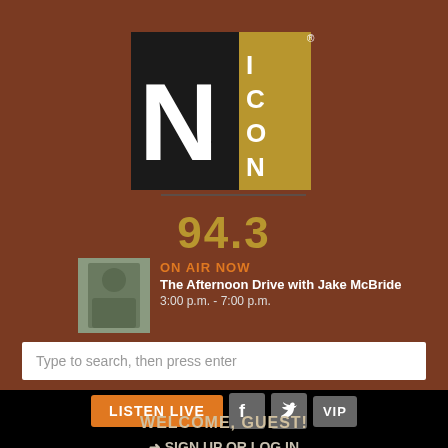[Figure (logo): Nash Icon radio station logo — black N with gold ICON text block, with ® mark]
94.3
ON AIR NOW
The Afternoon Drive with Jake McBride
3:00 p.m. - 7:00 p.m.
Type to search, then press enter
LISTEN LIVE
WELCOME, GUEST!
➜ SIGN UP OR LOG IN